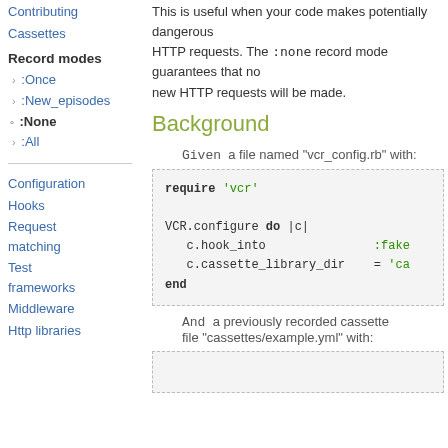Contributing
Cassettes
This is useful when your code makes potentially dangerous HTTP requests. The :none record mode guarantees that no new HTTP requests will be made.
Record modes
> :Once
> :New_episodes
• :None
> :All
Background
Configuration
Hooks
Request matching
Test frameworks
Middleware
Http libraries
Given  a file named "vcr_config.rb" with:
require 'vcr'

VCR.configure do |c|
  c.hook_into                    :fake
  c.cassette_library_dir = 'ca
end
And  a previously recorded cassette file "cassettes/example.yml" with: